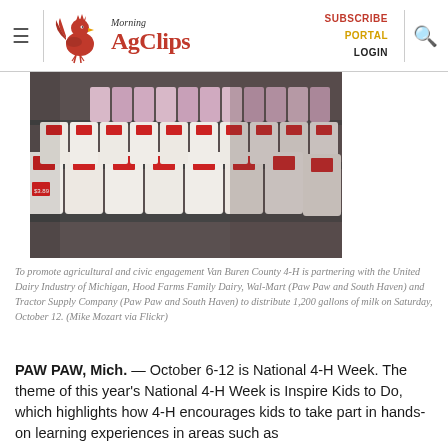Morning AgClips | SUBSCRIBE PORTAL LOGIN
[Figure (photo): Rows of white milk jugs with red labels on a supermarket refrigerator shelf, viewed at an angle showing many gallons receding into the distance]
To promote agricultural and civic engagement Van Buren County 4-H is partnering with the United Dairy Industry of Michigan, Hood Farms Family Dairy, Wal-Mart (Paw Paw and South Haven) and Tractor Supply Company (Paw Paw and South Haven) to distribute 1,200 gallons of milk on Saturday, October 12. (Mike Mozart via Flickr)
PAW PAW, Mich. — October 6-12 is National 4-H Week. The theme of this year's National 4-H Week is Inspire Kids to Do, which highlights how 4-H encourages kids to take part in hands-on learning experiences in areas such as